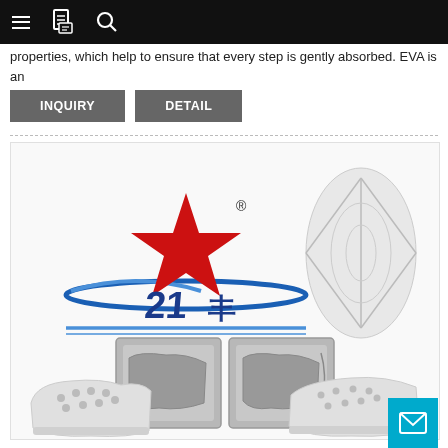Navigation bar with menu, document, and search icons
properties, which help to ensure that every step is gently absorbed. EVA is an
INQUIRY
DETAIL
[Figure (photo): Product showcase image showing: top-left a red star logo with blue Chinese characters and registered trademark symbol; top-right a white EVA shoe sole from above showing tread pattern; center a silver aluminum shoe mold tool opened in two halves showing the cavity shape; bottom-left a white perforated EVA foam clog shoe from the side; bottom-right a white EVA clog shoe from a different angle. All on white background.]
[Figure (other): Cyan/teal mail envelope icon button in bottom right corner]